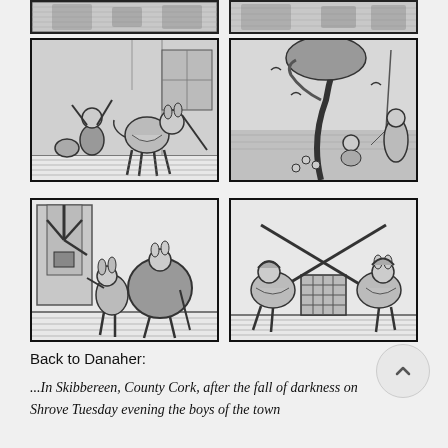[Figure (illustration): Top row: two partially visible black-and-white woodcut/engraving illustrations (cropped at top of page) showing animal characters in scenes]
[Figure (illustration): Middle left: black-and-white woodcut illustration of animal characters (donkey/cow figures) in an acrobatic or fighting scene indoors]
[Figure (illustration): Middle right: black-and-white woodcut illustration of fantastical scene with serpent/snake climbing tree, birds, and figures by water]
[Figure (illustration): Bottom left: black-and-white woodcut illustration of two animal characters (donkey figures) near a windmill, one carrying a large sack]
[Figure (illustration): Bottom right: black-and-white woodcut illustration of animal characters in a sword-crossing/fencing scene]
Back to Danaher:
...In Skibbereen, County Cork, after the fall of darkness on Shrove Tuesday evening the boys of the town